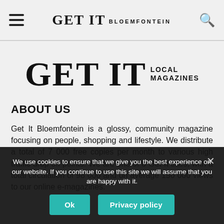GET IT BLOEMFONTEIN
[Figure (logo): GET IT LOCAL MAGAZINES logo in large black serif/sans-serif text]
ABOUT US
Get It Bloemfontein is a glossy, community magazine focusing on people, shopping and lifestyle. We distribute a total of 7 000 free copies per month to various high traffic drop off points. We are one of 8 Get It titles, with a total circulation of 98 000 and on average 150 000 views to our online e-magazines.
We use cookies to ensure that we give you the best experience on our website. If you continue to use this site we will assume that you are happy with it.